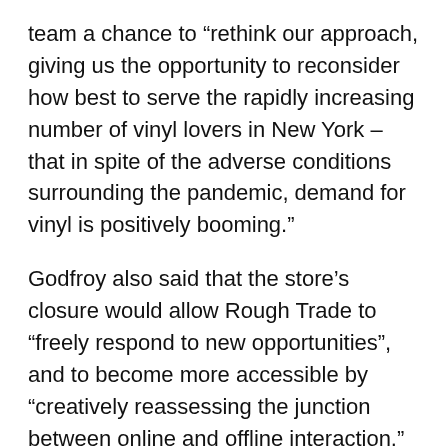team a chance to “rethink our approach, giving us the opportunity to reconsider how best to serve the rapidly increasing number of vinyl lovers in New York – that in spite of the adverse conditions surrounding the pandemic, demand for vinyl is positively booming.”
Godfroy also said that the store’s closure would allow Rough Trade to “freely respond to new opportunities”, and to become more accessible by “creatively reassessing the junction between online and offline interaction.” A new location is yet to be announced.
The current NYC store – a 10,000 square foot ex-warehouse located between Kent and Wythe on North 9th Street – was converted by Rough Trade using over a dozen shipping containers and opened late 2013 in response to the growing deficit of record stores in the city.